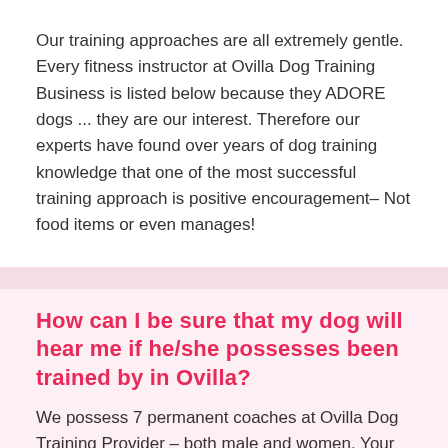Our training approaches are all extremely gentle. Every fitness instructor at Ovilla Dog Training Business is listed below because they ADORE dogs ... they are our interest. Therefore our experts have found over years of dog training knowledge that one of the most successful training approach is positive encouragement– Not food items or even manages!
How can I be sure that my dog will hear me if he/she possesses been trained by in Ovilla?
We possess 7 permanent coaches at Ovilla Dog Training Provider – both male and women. Your pet will definitely have instruction treatments with every one of all of them to make